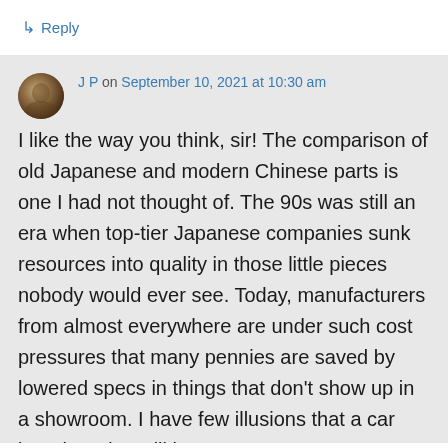↳ Reply
J P on September 10, 2021 at 10:30 am
I like the way you think, sir! The comparison of old Japanese and modern Chinese parts is one I had not thought of. The 90s was still an era when top-tier Japanese companies sunk resources into quality in those little pieces nobody would ever see. Today, manufacturers from almost everywhere are under such cost pressures that many pennies are saved by lowered specs in things that don't show up in a showroom. I have few illusions that a car bought today will be a 20 or 30 year